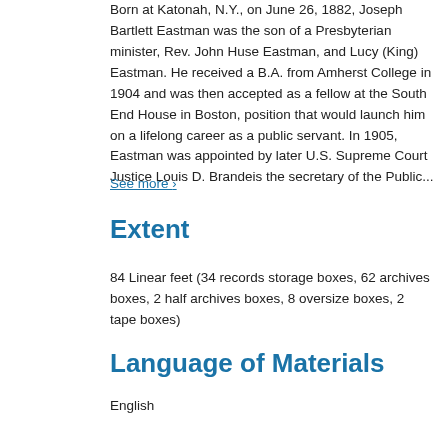Born at Katonah, N.Y., on June 26, 1882, Joseph Bartlett Eastman was the son of a Presbyterian minister, Rev. John Huse Eastman, and Lucy (King) Eastman. He received a B.A. from Amherst College in 1904 and was then accepted as a fellow at the South End House in Boston, position that would launch him on a lifelong career as a public servant. In 1905, Eastman was appointed by later U.S. Supreme Court Justice Louis D. Brandeis the secretary of the Public...
See more ›
Extent
84 Linear feet (34 records storage boxes, 62 archives boxes, 2 half archives boxes, 8 oversize boxes, 2 tape boxes)
Language of Materials
English
Collapse All